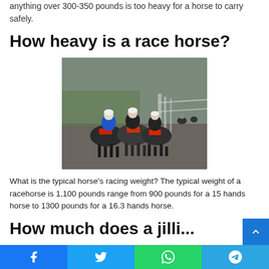anything over 300-350 pounds is too heavy for a horse to carry safely.
How heavy is a race horse?
[Figure (photo): Rear view of jockeys on racehorses galloping along a racetrack, with fence and green field in background.]
What is the typical horse's racing weight? The typical weight of a racehorse is 1,100 pounds range from 900 pounds for a 15 hands horse to 1300 pounds for a 16.3 hands horse.
How much does a jilli...